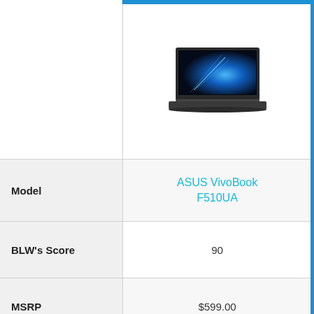[Figure (photo): ASUS VivoBook F510UA laptop photograph showing open laptop with blue globe wallpaper on screen]
|  |  |
| --- | --- |
| Model | ASUS VivoBook F510UA |
| BLW's Score | 90 |
| MSRP | $599.00 |
| More Information | VIEW ON AMAZON |
|  | Intel Core i5-7200U 2.5 |